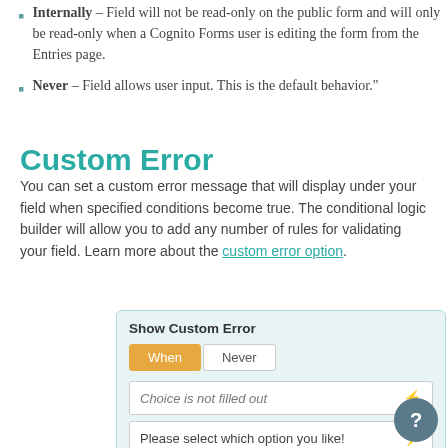Internally – Field will not be read-only on the public form and will only be read-only when a Cognito Forms user is editing the form from the Entries page.
Never – Field allows user input. This is the default behavior."
Custom Error
You can set a custom error message that will display under your field when specified conditions become true. The conditional logic builder will allow you to add any number of rules for validating your field. Learn more about the custom error option.
[Figure (screenshot): UI panel showing 'Show Custom Error' with When/Never tabs, a condition row 'Choice is not filled out' with lightning bolt, and a text field 'Please select which option you like!' with lightning bolt.]